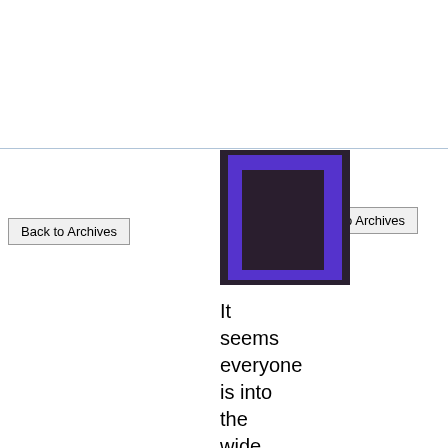[Figure (illustration): Abstract painting/image with blue and dark purple/brown rectangular blocks on a dark background]
Back to Archives
Back to Archives
It seems everyone is into the wide screen flip phone phenome Alex introduce us to